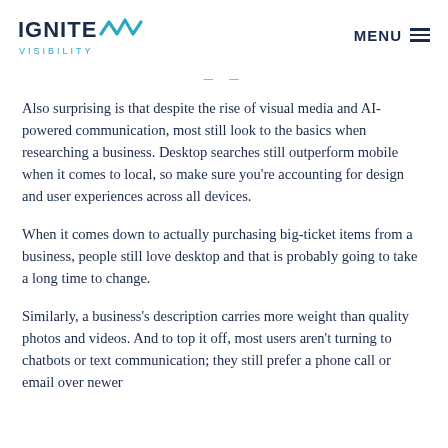IGNITE VISIBILITY | MENU
Also surprising is that despite the rise of visual media and AI-powered communication, most still look to the basics when researching a business. Desktop searches still outperform mobile when it comes to local, so make sure you're accounting for design and user experiences across all devices.
When it comes down to actually purchasing big-ticket items from a business, people still love desktop and that is probably going to take a long time to change.
Similarly, a business's description carries more weight than quality photos and videos. And to top it off, most users aren't turning to chatbots or text communication; they still prefer a phone call or email over newer